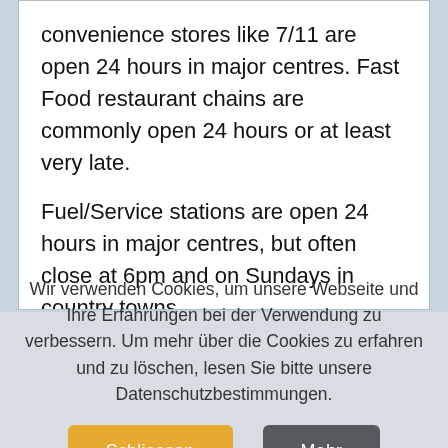convenience stores like 7/11 are open 24 hours in major centres. Fast Food restaurant chains are commonly open 24 hours or at least very late.
Fuel/Service stations are open 24 hours in major centres, but often close at 6pm and on Sundays in country towns.
Australia's weekend is on Saturday and Sunday
Wir verwenden Cookies, um unsere Webseite und Ihre Erfahrungen bei der Verwendung zu verbessern. Um mehr über die Cookies zu erfahren und zu löschen, lesen Sie bitte unsere Datenschutzbestimmungen.